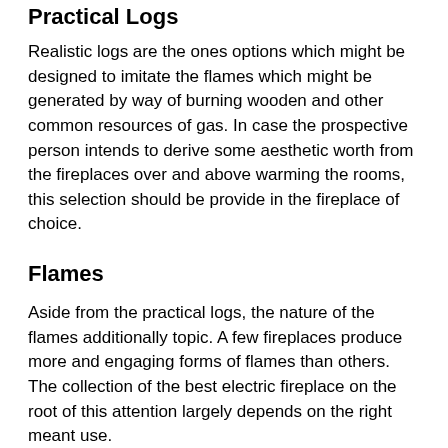Practical Logs
Realistic logs are the ones options which might be designed to imitate the flames which might be generated by way of burning wooden and other common resources of gas. In case the prospective person intends to derive some aesthetic worth from the fireplaces over and above warming the rooms, this selection should be provide in the fireplace of choice.
Flames
Aside from the practical logs, the nature of the flames additionally topic. A few fireplaces produce more and engaging forms of flames than others. The collection of the best electric fireplace on the root of this attention largely depends on the right meant use.